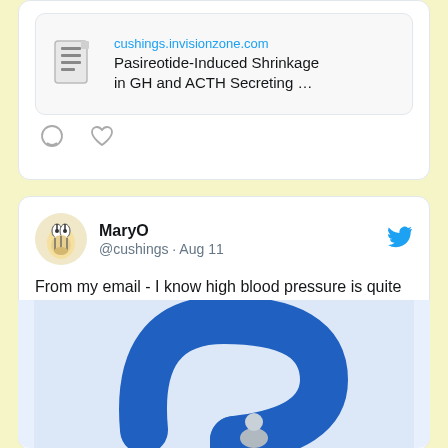[Figure (screenshot): Link preview card showing document icon and text: cushings.invisionzone.com / Pasireotide-Induced Shrinkage in GH and ACTH Secreting …]
[Figure (screenshot): Action bar with comment and heart icons]
MaryO @cushings · Aug 11
From my email - I know high blood pressure is quite common with Cushing's but has anyone who has been diagnosed experienced very low blood pressure?
cushings.invisionzone.com/topic/57274-lo…
[Figure (illustration): 3D illustration of a blue question mark with a small grey figure at its base]